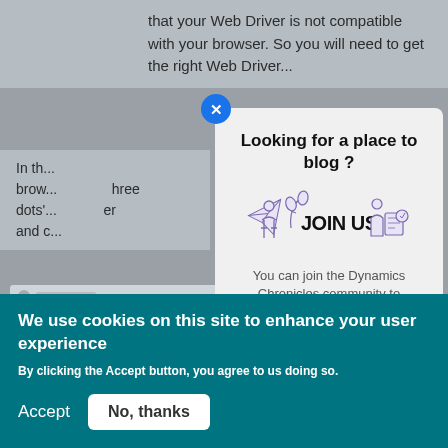that your Web Driver is not compatible with your browser. So you will need to get the right Web Driver
In th... brow... three dots'... er and c...
Looking for a place to blog ?
[Figure (illustration): JOIN US illustration with hand-drawn style figures and a paper airplane icon in purple/lavender colors]
You can join the Dynamics Chronicles community to write...
We use cookies on this site to enhance your user experience
By clicking the Accept button, you agree to us doing so.
Accept
No, thanks